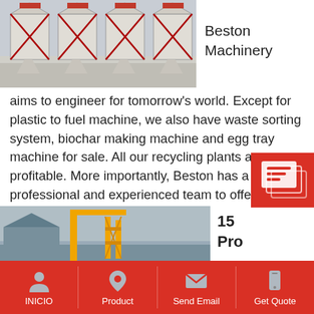[Figure (photo): Industrial machinery silos/hoppers in a row, industrial facility]
Beston Machinery
aims to engineer for tomorrow's world. Except for plastic to fuel machine, we also have waste sorting system, biochar making machine and egg tray machine for sale. All our recycling plants are profitable. More importantly, Beston has a professional and experienced team to offer you the most cost-effective business plan.
Read More
[Figure (photo): Construction or industrial crane/scaffolding scene]
15 Pro
INICIO | Product | Send Email | Get Quote